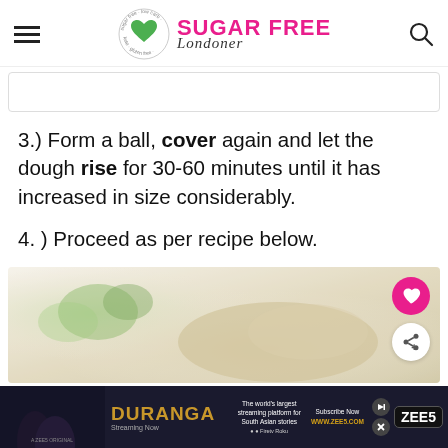Sugar Free Londoner
3.) Form a ball, cover again and let the dough rise for 30-60 minutes until it has increased in size considerably.
4. ) Proceed as per recipe below.
[Figure (photo): Blurred food photo showing bread/dough with green herbs/microgreens on a light background, with a pink heart save button and a white share button overlaid.]
[Figure (screenshot): Advertisement banner for DuRanga streaming on ZEE5 platform. Dark background with show name in gold, subscribe now text, and ZEE5 logo.]